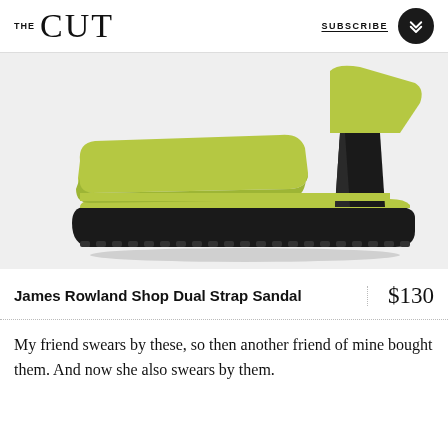THE CUT  SUBSCRIBE
[Figure (photo): Side view of a lime green dual strap platform sandal with chunky black lug sole and block heel against a light grey background.]
James Rowland Shop Dual Strap Sandal
$130
My friend swears by these, so then another friend of mine bought them. And now she also swears by them.